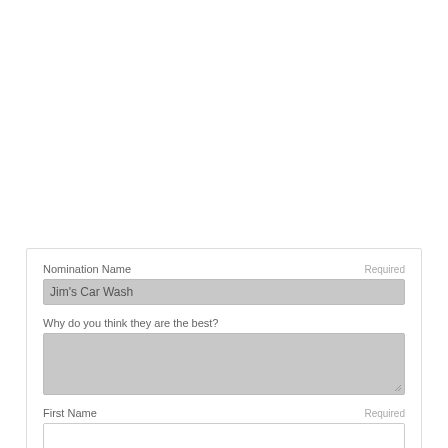Nomination Name
Required
Jim's Car Wash
Why do you think they are the best?
First Name
Required
Last Name
Required